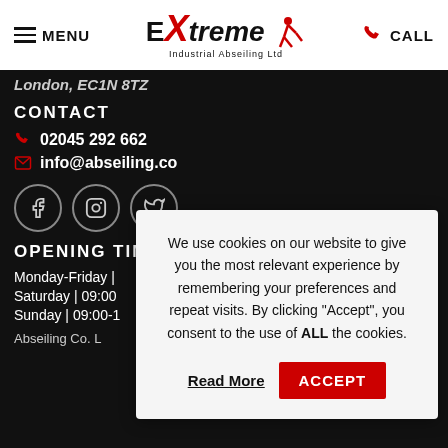MENU | Extreme Industrial Abseiling Ltd | CALL
London, EC1N 8TZ
CONTACT
02045 292 662
info@abseiling.co
[Figure (other): Social media icons: Facebook, Instagram, Twitter]
OPENING TIMES
Monday-Friday |
Saturday | 09:00
Sunday | 09:00-1
Abseiling Co. L
We use cookies on our website to give you the most relevant experience by remembering your preferences and repeat visits. By clicking “Accept”, you consent to the use of ALL the cookies.
Read More
ACCEPT